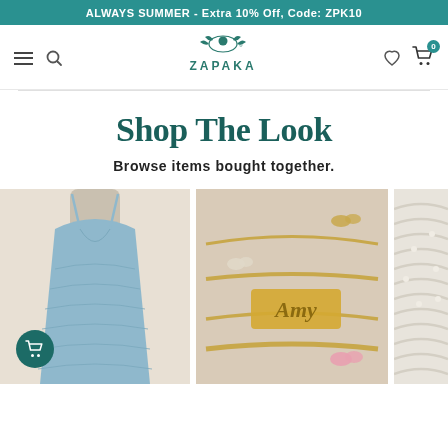ALWAYS SUMMER - Extra 10% Off, Code: ZPK10
[Figure (logo): ZAPAKA brand logo with stylized woman and leaf motif]
Shop The Look
Browse items bought together.
[Figure (photo): Light blue lace spaghetti strap V-neck dress on a mannequin]
[Figure (photo): Gold name necklaces/bracelets with butterfly charms on beige background]
[Figure (photo): Cream/white knit or crochet fabric item, partially visible]